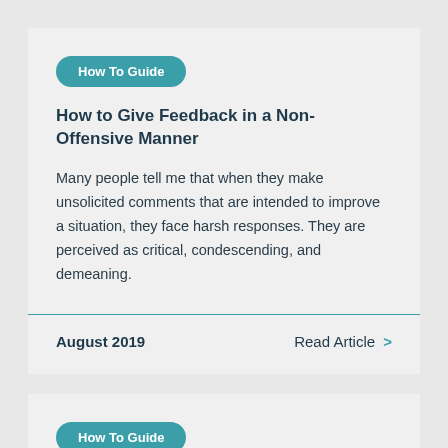How To Guide
How to Give Feedback in a Non-Offensive Manner
Many people tell me that when they make unsolicited comments that are intended to improve a situation, they face harsh responses. They are perceived as critical, condescending, and demeaning.
August 2019
Read Article >
How To Guide
How to Deal with Difficult People